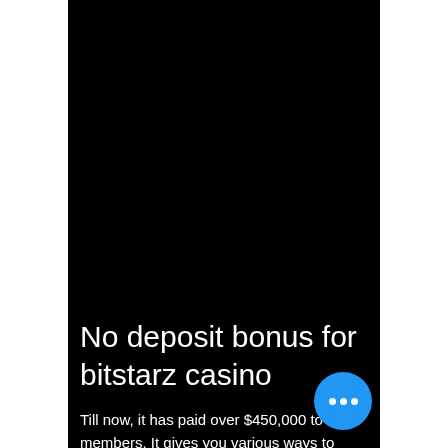[Figure (screenshot): Black background screenshot area taking up the upper portion of the page]
No deposit bonus for bitstarz casino
Till now, it has paid over $450,000 to its members. It gives you various ways to thousands of bitcoin such as by completing offers, installing games, downloading apps